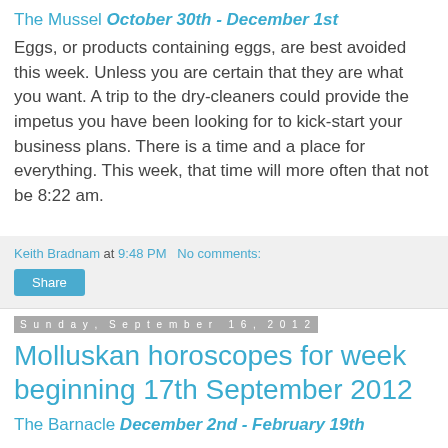The Mussel October 30th - December 1st
Eggs, or products containing eggs, are best avoided this week. Unless you are certain that they are what you want. A trip to the dry-cleaners could provide the impetus you have been looking for to kick-start your business plans. There is a time and a place for everything. This week, that time will more often that not be 8:22 am.
Keith Bradnam at 9:48 PM  No comments:
Share
Sunday, September 16, 2012
Molluskan horoscopes for week beginning 17th September 2012
The Barnacle December 2nd - February 19th